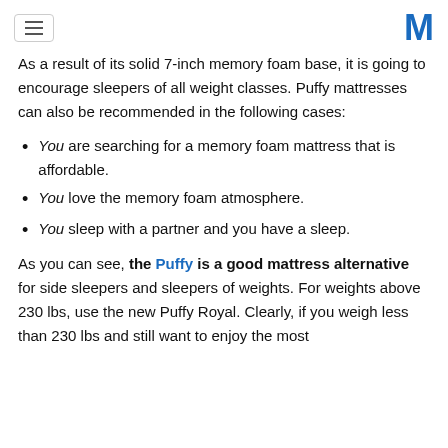[hamburger menu icon] [M logo]
As a result of its solid 7-inch memory foam base, it is going to encourage sleepers of all weight classes. Puffy mattresses can also be recommended in the following cases:
You are searching for a memory foam mattress that is affordable.
You love the memory foam atmosphere.
You sleep with a partner and you have a sleep.
As you can see, the Puffy is a good mattress alternative for side sleepers and sleepers of weights. For weights above 230 lbs, use the new Puffy Royal. Clearly, if you weigh less than 230 lbs and still want to enjoy the most